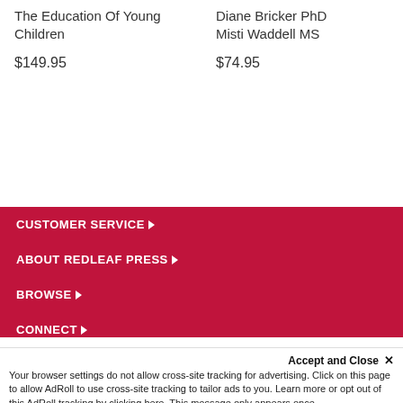The Education Of Young Children
$149.95
Diane Bricker PhD
Misti Waddell MS
$74.95
CUSTOMER SERVICE ▶
ABOUT REDLEAF PRESS ▶
BROWSE ▶
CONNECT ▶
Members of the Think Small family
Accept and Close ✕
Your browser settings do not allow cross-site tracking for advertising. Click on this page to allow AdRoll to use cross-site tracking to tailor ads to you. Learn more or opt out of this AdRoll tracking by clicking here. This message only appears once.